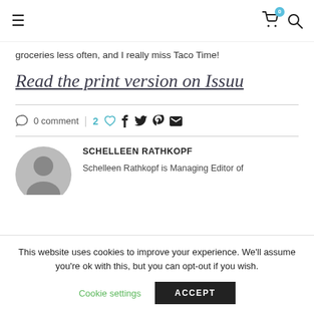≡ [navigation] [cart 0] [search]
groceries less often, and I really miss Taco Time!
Read the print version on Issuu
0 comment | 2 ♥ f t p ✉
SCHELLEEN RATHKOPF
Schelleen Rathkopf is Managing Editor of
This website uses cookies to improve your experience. We'll assume you're ok with this, but you can opt-out if you wish.
Cookie settings   ACCEPT